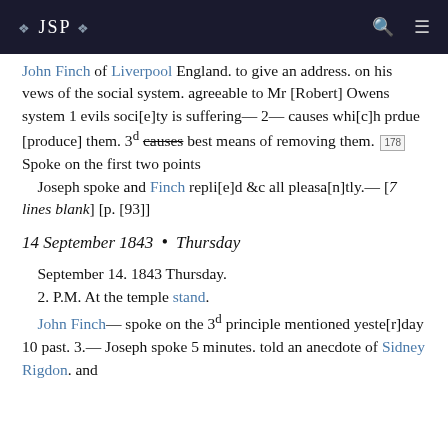❖ JSP ❖
John Finch of Liverpool England. to give an address. on his vews of the social system. agreeable to Mr [Robert] Owens system 1 evils soci[e]ty is suffering— 2— causes whi[c]h prdue [produce] them. 3d causes best means of removing them. [178] Spoke on the first two points
    Joseph spoke and Finch repli[e]d &c all pleasa[n]tly.— [7 lines blank] [p. [93]]
14 September 1843 • Thursday
September 14. 1843 Thursday.
    2. P.M. At the temple stand.
    John Finch— spoke on the 3d principle mentioned yeste[r]day 10 past. 3.— Joseph spoke 5 minutes. told an anecdote of Sidney Rigdon. and